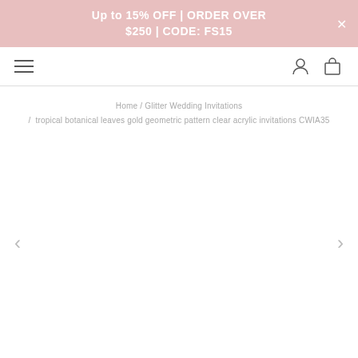Up to 15% OFF | ORDER OVER $250 | CODE: FS15
Home / Glitter Wedding Invitations / tropical botanical leaves gold geometric pattern clear acrylic invitations CWIA35
[Figure (screenshot): Product image area with left and right navigation arrows, currently showing a blank/white product image placeholder]